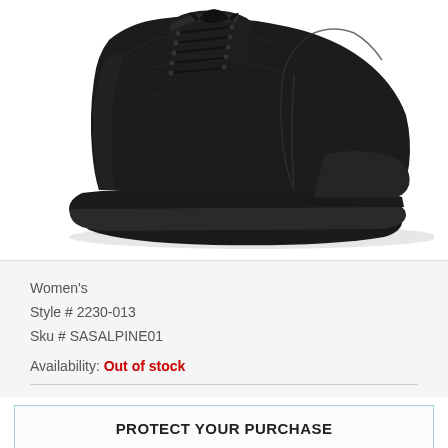[Figure (photo): Black women's lace-up leather ankle boot on white background, viewed from the side at a slight angle. The boot has a thick rubber sole and pebbled leather upper.]
Women's
Style # 2230-013
Sku # SASALPINE01
Availability: Out of stock
PROTECT YOUR PURCHASE
Check items to add to the cart or select all